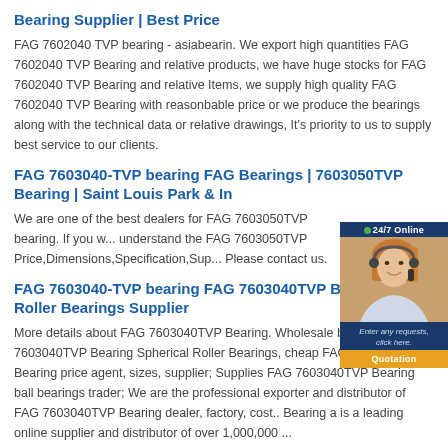Bearing Supplier | Best Price
FAG 7602040 TVP bearing - asiabearin. We export high quantities FAG 7602040 TVP Bearing and relative products, we have huge stocks for FAG 7602040 TVP Bearing and relative Items, we supply high quality FAG 7602040 TVP Bearing with reasonbable price or we produce the bearings along with the technical data or relative drawings, It's priority to us to supply best service to our clients.
FAG 7603040-TVP bearing FAG Bearings | 7603050TVP Bearing | Saint Louis Park & In
We are one of the best dealers for FAG 7603050TVP bearing. If you w... understand the FAG 7603050TVP Price,Dimensions,Specification,Sup... Please contact us.
[Figure (photo): Customer service agent photo with 24/7 Online chat widget, showing a woman with headset, with text 'Enter any requests, click here.' and a Quotation button]
FAG 7603040-TVP bearing FAG 7603040TVP Bearing – Ball Roller Bearings Supplier
More details about FAG 7603040TVP Bearing. Wholesale brand FAG 7603040TVP Bearing Spherical Roller Bearings, cheap FAG 7603040TVP Bearing price agent, sizes, supplier; Supplies FAG 7603040TVP Bearing ball bearings trader; We are the professional exporter and distributor of FAG 7603040TVP Bearing dealer, factory, cost.. Bearing a is a leading online supplier and distributor of over 1,000,000 ...